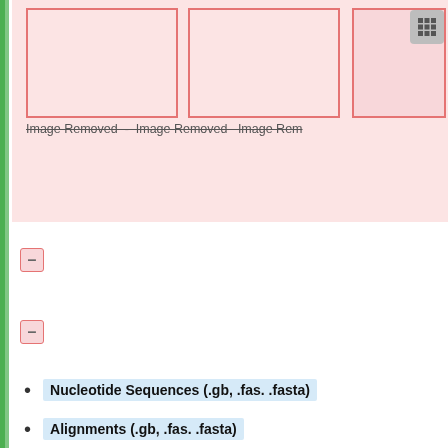[Figure (screenshot): Three pink placeholder image boxes with 'Image Removed' strikethrough text captions. A grid icon button is visible in the top right corner.]
–
–
Nucleotide Sequences (.gb, .fas. .fasta)
Alignments (.gb, .fas. .fasta)
Protein Sequences (.gb, .fas. .fasta)
Text Files (.txt or similar)
Tables (xls, xlsx)
Images (png or similar)
Animations (gif)
What types of data can I add to my profile?
You can upload most types of data, as long as it